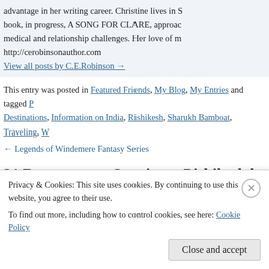advantage in her writing career. Christine lives in S... book, in progress, A SONG FOR CLARE, approac... medical and relationship challenges. Her love of m... http://cerobinsonauthor.com
View all posts by C.E.Robinson →
This entry was posted in Featured Friends, My Blog, My Entries and tagged P... Destinations, Information on India, Rishikesh, Sharukh Bamboat, Traveling, W... permalink.
← Legends of Windemere Fantasy Series
31 Responses to Sunrise at Rishikesh by S
vanbytheriver says:
Privacy & Cookies: This site uses cookies. By continuing to use this website, you agree to their use. To find out more, including how to control cookies, see here: Cookie Policy
Close and accept